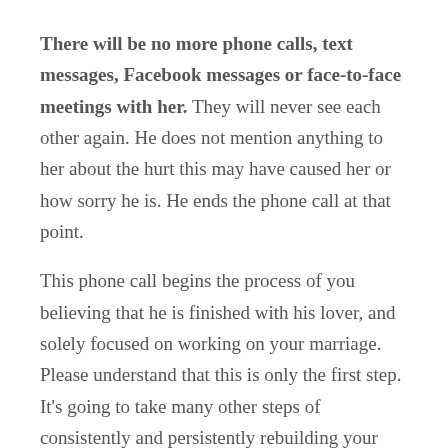There will be no more phone calls, text messages, Facebook messages or face-to-face meetings with her. They will never see each other again. He does not mention anything to her about the hurt this may have caused her or how sorry he is. He ends the phone call at that point.
This phone call begins the process of you believing that he is finished with his lover, and solely focused on working on your marriage. Please understand that this is only the first step. It's going to take many other steps of consistently and persistently rebuilding your trust, but this is how you can know for sure that he has ended the affair.
Have you recently found out that your husband has